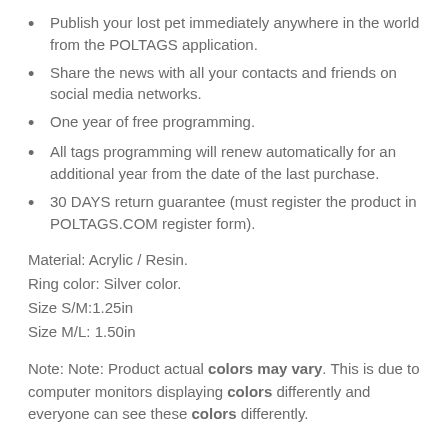Publish your lost pet immediately anywhere in the world from the POLTAGS application.
Share the news with all your contacts and friends on social media networks.
One year of free programming.
All tags programming will renew automatically for an additional year from the date of the last purchase.
30 DAYS return guarantee (must register the product in POLTAGS.COM register form).
Material: Acrylic / Resin.
Ring color: Silver color.
Size S/M:1.25in
Size M/L: 1.50in
Note: Note: Product actual colors may vary. This is due to computer monitors displaying colors differently and everyone can see these colors differently.